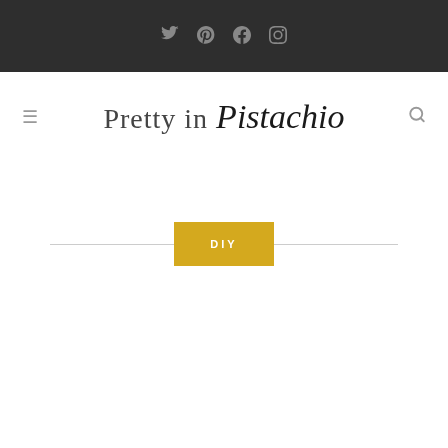Social icons: Twitter, Pinterest, Facebook, Instagram
Pretty in Pistachio
DIY